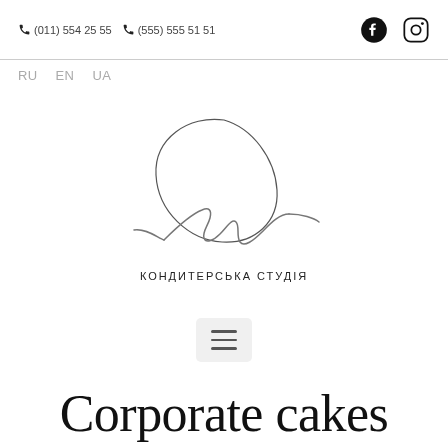(011) 554 25 55  (555) 555 51 51
RU  EN  UA
[Figure (logo): Lulu confectionery studio logo — cursive handwritten 'lulu' with a looping oval, and tagline КОНДИТЕРСЬКА СТУДІЯ]
[Figure (other): Hamburger menu button (three horizontal lines) in a light grey rounded rectangle]
Corporate cakes